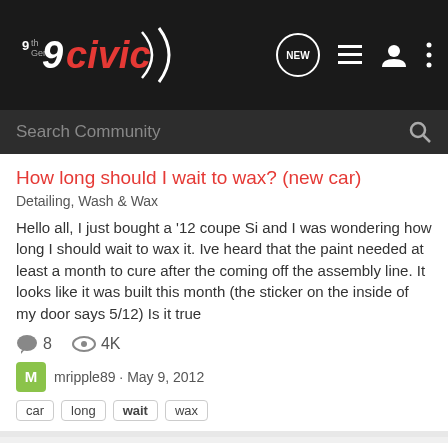9thGenCivic - NEW [icons]
Search Community
How long should I wait to wax? (new car)
Detailing, Wash & Wax
Hello all, I just bought a '12 coupe Si and I was wondering how long I should wait to wax it. Ive heard that the paint needed at least a month to cure after the coming off the assembly line. It looks like it was built this month (the sticker on the inside of my door says 5/12) Is it true
8   4K
mripple89 · May 9, 2012
car   long   wait   wax
Take the KPlayground Body Kit now? or wait Years for OEM?